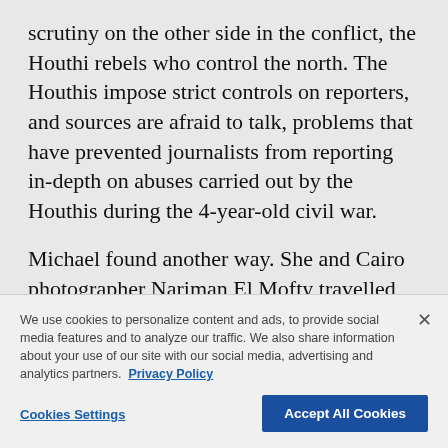scrutiny on the other side in the conflict, the Houthi rebels who control the north. The Houthis impose strict controls on reporters, and sources are afraid to talk, problems that have prevented journalists from reporting in-depth on abuses carried out by the Houthis during the 4-year-old civil war.
Michael found another way. She and Cairo photographer Nariman El Mofty travelled
We use cookies to personalize content and ads, to provide social media features and to analyze our traffic. We also share information about your use of our site with our social media, advertising and analytics partners. Privacy Policy
Cookies Settings
Accept All Cookies